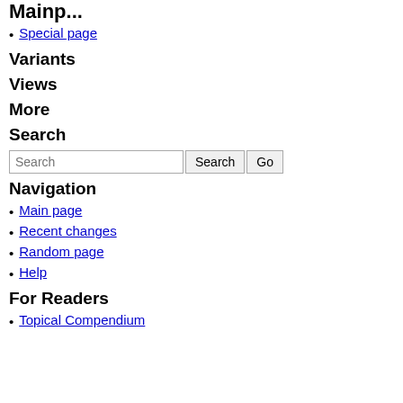Special page
Variants
Views
More
Search
Search [input] Search Go
Navigation
Main page
Recent changes
Random page
Help
For Readers
Topical Compendium